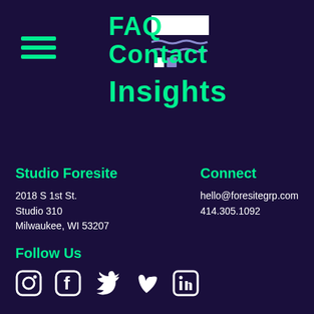[Figure (illustration): Hamburger/menu icon with three horizontal green lines]
FAQ
Contact
Insights
Studio Foresite
2018 S 1st St.
Studio 310
Milwaukee, WI 53207
Connect
hello@foresitegrp.com
414.305.1092
Follow Us
[Figure (illustration): Row of social media icons: Instagram, Facebook, Twitter, Vimeo, LinkedIn]